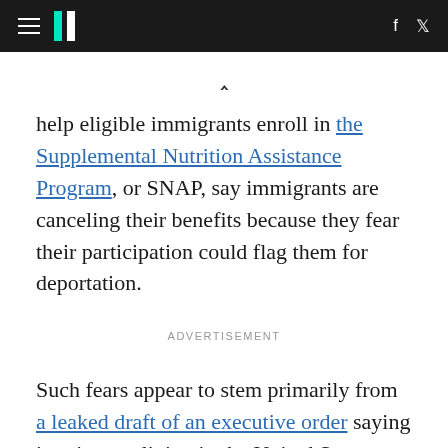HuffPost navigation header with hamburger menu, logo, Facebook and Twitter icons
help eligible immigrants enroll in the Supplemental Nutrition Assistance Program, or SNAP, say immigrants are canceling their benefits because they fear their participation could flag them for deportation.
ADVERTISEMENT
Such fears appear to stem primarily from a leaked draft of an executive order saying immigrants living in the United States could be